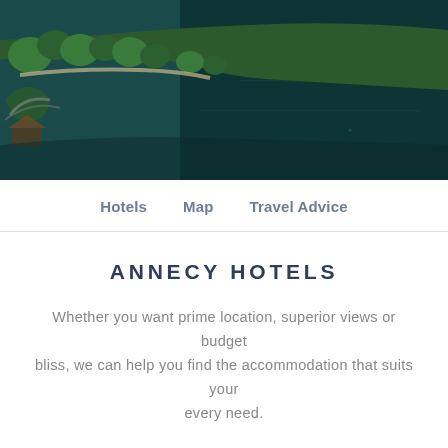[Figure (photo): Aerial view of Annecy lake shoreline with trees, pathways, and dark teal water]
Hotels   Map   Travel Advice
ANNECY HOTELS
Whether you want prime location, superior views or budget bliss, we can help you find the accommodation that suits your every need.
[Figure (photo): Hotel room interior with teal/dark teal accent wall, bed, and lamp]
3 Vue Lake With Balcony, Shops And Beach 100m
ANNECY